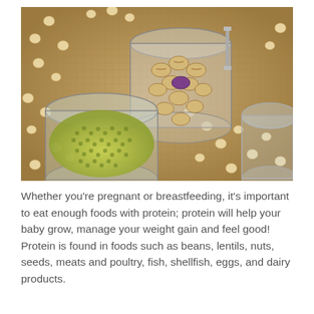[Figure (photo): Overhead view of glass mason jars filled with dried legumes on a burlap background. Left jar contains green lentils, center jar contains pinto/borlotti beans with one purple bean, right jar is mostly empty. Chickpeas are scattered across the burlap surface.]
Whether you're pregnant or breastfeeding, it's important to eat enough foods with protein; protein will help your baby grow, manage your weight gain and feel good! Protein is found in foods such as beans, lentils, nuts, seeds, meats and poultry, fish, shellfish, eggs, and dairy products.